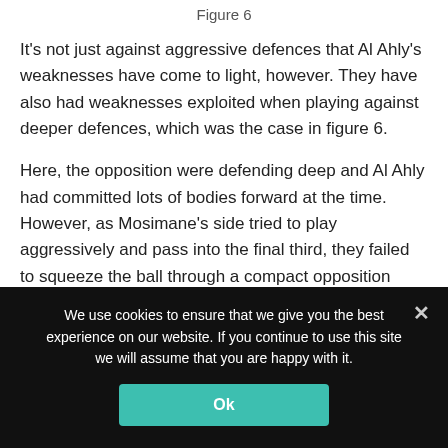Figure 6
It's not just against aggressive defences that Al Ahly's weaknesses have come to light, however. They have also had weaknesses exploited when playing against deeper defences, which was the case in figure 6.
Here, the opposition were defending deep and Al Ahly had committed lots of bodies forward at the time. However, as Mosimane's side tried to play aggressively and pass into the final third, they failed to squeeze the ball through a compact opposition block and ended up giving
We use cookies to ensure that we give you the best experience on our website. If you continue to use this site we will assume that you are happy with it.